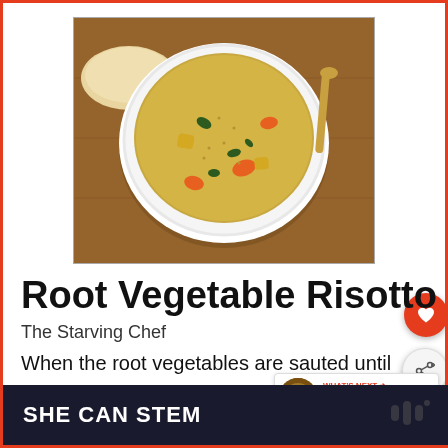[Figure (photo): Overhead shot of a white bowl of root vegetable risotto with carrots, greens, and golden grains, served on a wooden board with bread]
Root Vegetable Risotto
The Starving Chef
When the root vegetables are sauted until
SHE CAN STEM